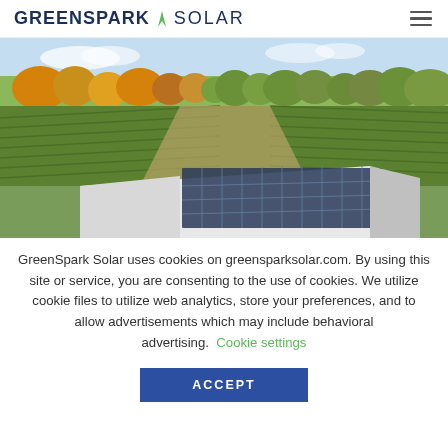GREENSPARK ▸ SOLAR
[Figure (photo): Aerial drone photo of a large white agricultural building with solar panels installed on its roof, surrounded by vineyard rows and colorful autumn trees in the background.]
GreenSpark Solar uses cookies on greensparksolar.com. By using this site or service, you are consenting to the use of cookies. We utilize cookie files to utilize web analytics, store your preferences, and to allow advertisements which may include behavioral advertising. Cookie settings
ACCEPT